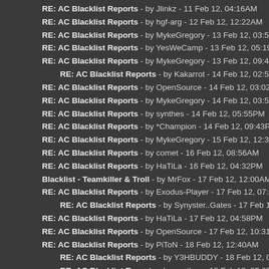RE: AC Blacklist Reports - by Jlinkz - 11 Feb 12, 04:16AM
RE: AC Blacklist Reports - by hgf-arg - 12 Feb 12, 12:22AM
RE: AC Blacklist Reports - by MykeGregory - 13 Feb 12, 03:50PM
RE: AC Blacklist Reports - by YesWeCamp - 13 Feb 12, 05:19PM
RE: AC Blacklist Reports - by MykeGregory - 13 Feb 12, 09:41PM
RE: AC Blacklist Reports - by Kakarrot - 14 Feb 12, 02:59AM
RE: AC Blacklist Reports - by OpenSource - 14 Feb 12, 03:02AM
RE: AC Blacklist Reports - by MykeGregory - 14 Feb 12, 03:58PM
RE: AC Blacklist Reports - by synthes - 14 Feb 12, 05:55PM
RE: AC Blacklist Reports - by *Champion - 14 Feb 12, 09:43PM
RE: AC Blacklist Reports - by MykeGregory - 15 Feb 12, 12:32PM
RE: AC Blacklist Reports - by comet - 16 Feb 12, 08:56AM
RE: AC Blacklist Reports - by HaTiLa - 16 Feb 12, 04:32PM
Blacklist - Teamkiller & Troll - by MrFox - 17 Feb 12, 12:00AM
RE: AC Blacklist Reports - by Exodus-Player - 17 Feb 12, 07:59AM
RE: AC Blacklist Reports - by Synyster..Gates - 17 Feb 12, 10:25PM
RE: AC Blacklist Reports - by HaTiLa - 17 Feb 12, 04:58PM
RE: AC Blacklist Reports - by OpenSource - 17 Feb 12, 10:31PM
RE: AC Blacklist Reports - by PiToN - 18 Feb 12, 12:40AM
RE: AC Blacklist Reports - by Y3HBUDDY - 18 Feb 12, 01:08AM
RE: AC Blacklist Reports - by synthes - 18 Feb 12, 05:07AM
RE: AC Blacklist Reports - by Jg99 - 19 Feb 12, 03:36AM
RE: AC Blacklist Reports - by Tightsecurity - 20 Feb 12, 02:08AM
RE: AC Blacklist Reports - by jamz - 20 Feb 12, 11:58PM
RE: AC Blacklist Reports - by DeafieGamer - 21 Feb 12, 02:48PM